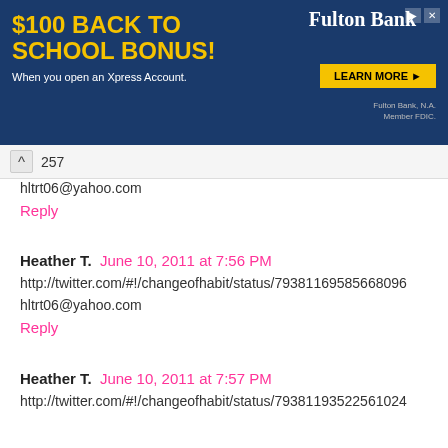[Figure (screenshot): Fulton Bank advertisement banner: '$100 BACK TO SCHOOL BONUS! When you open an Xpress Account.' with 'LEARN MORE' button and Fulton Bank logo on blue background]
257
hltrt06@yahoo.com
Reply
Heather T.  June 10, 2011 at 7:56 PM
http://twitter.com/#!/changeofhabit/status/79381169585668096
hltrt06@yahoo.com
Reply
Heather T.  June 10, 2011 at 7:57 PM
http://twitter.com/#!/changeofhabit/status/79381193522561024